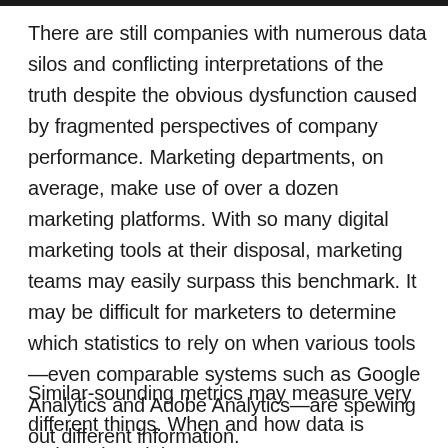There are still companies with numerous data silos and conflicting interpretations of the truth despite the obvious dysfunction caused by fragmented perspectives of company performance. Marketing departments, on average, make use of over a dozen marketing platforms. With so many digital marketing tools at their disposal, marketing teams may easily surpass this benchmark. It may be difficult for marketers to determine which statistics to rely on when various tools—even comparable systems such as Google Analytics and Adobe Analytics—are spewing out different information.
Similar-sounding metrics may measure very different things. When and how data is gathered, and the